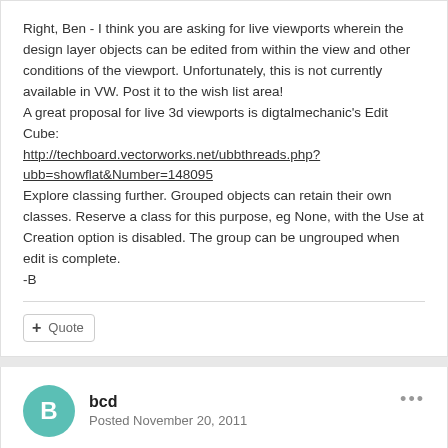Right, Ben - I think you are asking for live viewports wherein the design layer objects can be edited from within the view and other conditions of the viewport. Unfortunately, this is not currently available in VW. Post it to the wish list area! A great proposal for live 3d viewports is digtalmechanic's Edit Cube: http://techboard.vectorworks.net/ubbthreads.php?ubb=showflat&Number=148095 Explore classing further. Grouped objects can retain their own classes. Reserve a class for this purpose, eg None, with the Use at Creation option is disabled. The group can be ungrouped when edit is complete. -B
Quote
bcd
Posted November 20, 2011